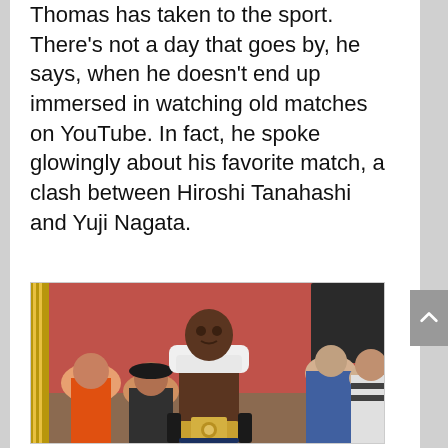Thomas has taken to the sport. There's not a day that goes by, he says, when he doesn't end up immersed in watching old matches on YouTube. In fact, he spoke glowingly about his favorite match, a clash between Hiroshi Tanahashi and Yuji Nagata.
[Figure (photo): A shirtless male wrestler with a white towel around his neck, wearing a championship belt, standing in front of a crowd in a venue with red walls.]